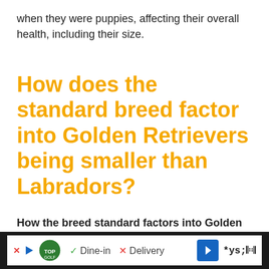when they were puppies, affecting their overall health, including their size.
How does the standard breed factor into Golden Retrievers being smaller than Labradors?
How the breed standard factors into Golden Retrievers being smaller than Labradors is that organizations like the American Kennel Club set a guideline for what is and is not a…
[Figure (other): Advertisement bar showing TopGolf logo, Dine-in and Delivery options, navigation arrow icon, and audio wave icon]